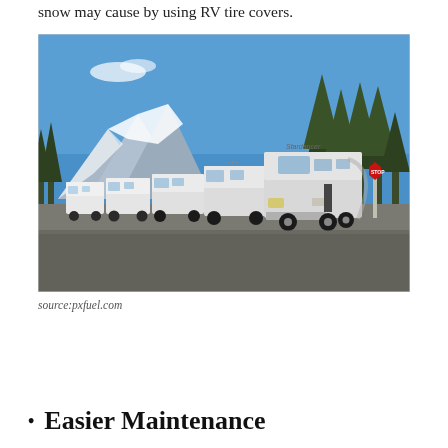snow may cause by using RV tire covers.
[Figure (photo): A row of white motorhome RVs parked in a line on a gravel lot, with snow-capped mountains and tall pine trees in the background under a bright blue sky.]
source:pxfuel.com
Easier Maintenance